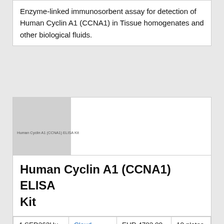Enzyme-linked immunosorbent assay for detection of Human Cyclin A1 (CCNA1) in Tissue homogenates and other biological fluids.
[Figure (photo): Product image placeholder for Human Cyclin A1 (CCNA1) ELISA Kit, gray square with label text]
Human Cyclin A1 (CCNA1) ELISA Kit
|  |  |  |  |
| --- | --- | --- | --- |
| 4-SED263Hu | Cloud-Clone | EUR 4782.00
EUR 2526.00 | 10 plates of 96 wells
5 plates of 96 wells
1 plate of 96... |